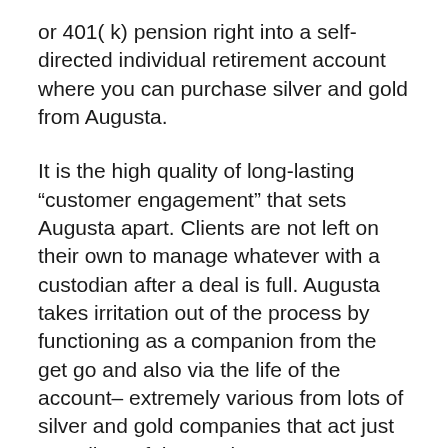or 401( k) pension right into a self-directed individual retirement account where you can purchase silver and gold from Augusta.
It is the high quality of long-lasting “customer engagement” that sets Augusta apart. Clients are not left on their own to manage whatever with a custodian after a deal is full. Augusta takes irritation out of the process by functioning as a companion from the get go and also via the life of the account– extremely various from lots of silver and gold companies that act just as sellers of the steels. Augusta cares for most of the paperwork for customers at the time of acquisition and as a continuous solution, consisting of distributions, payments, transfers, and also RMDs.